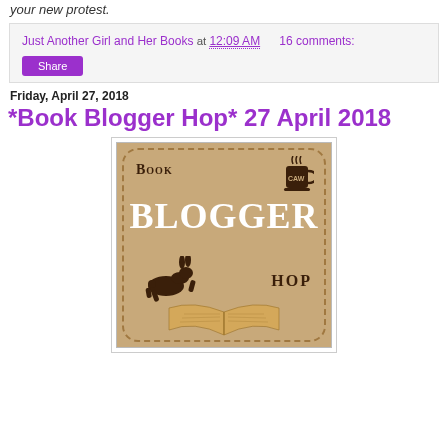your new protest.
Just Another Girl and Her Books at 12:09 AM    16 comments:
Share
Friday, April 27, 2018
*Book Blogger Hop* 27 April 2018
[Figure (illustration): Book Blogger Hop logo: tan/beige rounded rectangle with dashed border, text BOOK on upper left, BLOGGER in large white bold letters in center, HOP on lower right, a steaming coffee mug top right, a jumping rabbit silhouette lower left, and an open book at the bottom.]